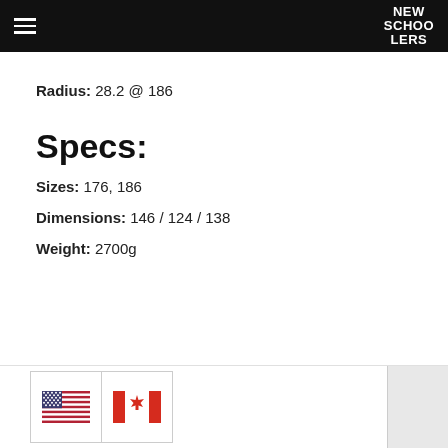NEW SCHOOLERS
Radius: 28.2 @ 186
Specs:
Sizes: 176, 186
Dimensions: 146 / 124 / 138
Weight: 2700g
[Figure (illustration): US flag and Canadian flag icons in a footer bar]